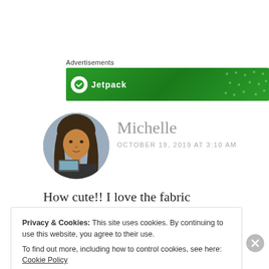Advertisements
[Figure (other): Green advertisement banner with circular logo and text 'Jetpack']
[Figure (photo): Circular profile photo of a woman with long dark hair]
Michelle
OCTOBER 19, 2019 AT 3:10 AM
How cute!! I love the fabric
Privacy & Cookies: This site uses cookies. By continuing to use this website, you agree to their use.
To find out more, including how to control cookies, see here: Cookie Policy
Close and accept